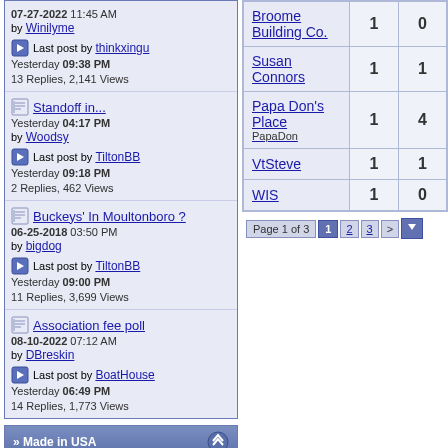07-27-2022 11:45 AM by Winilyme | Last post by thinkxingu Yesterday 09:38 PM | 13 Replies, 2,141 Views
Standoff in... Yesterday 04:17 PM by Woodsy | Last post by TiltonBB Yesterday 09:18 PM | 2 Replies, 462 Views
Buckeys' In Moultonboro ? 06-25-2018 03:50 PM by bigdog | Last post by TiltonBB Yesterday 09:00 PM | 11 Replies, 3,699 Views
Association fee poll 08-10-2022 07:12 AM by DBreskin | Last post by BoatHouse Yesterday 06:49 PM | 14 Replies, 1,773 Views
| Name | Col1 | Col2 |
| --- | --- | --- |
| Broome Building Co. | 1 | 0 |
| Susan Connors | 1 | 1 |
| Papa Don's Place (PapaDon) | 1 | 4 |
| VtSteve | 1 | 1 |
| WIS | 1 | 0 |
Page 1 of 3  1  2  3  >
» Made in USA